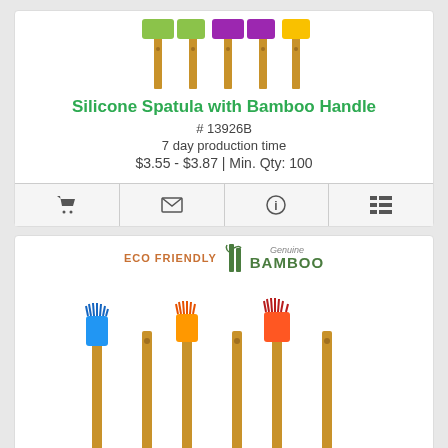[Figure (photo): Silicone spatulas with bamboo handles in multiple colors (green, purple, yellow) shown from above]
Silicone Spatula with Bamboo Handle
# 13926B
7 day production time
$3.55 - $3.87 | Min. Qty: 100
[Figure (infographic): Action bar with cart icon, email icon, info icon, and list icon]
[Figure (photo): Silicone basting brushes with bamboo handles in multiple colors (blue, orange, red-orange) with ECO FRIENDLY Genuine BAMBOO logo]